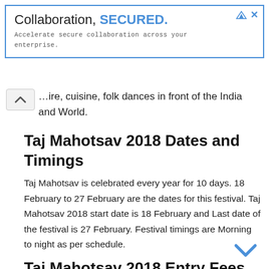[Figure (other): Advertisement banner with blue border. Text: 'Collaboration, SECURED.' with 'SECURED.' in bold blue. Subtitle in monospace: 'Accelerate secure collaboration across your enterprise.']
…ire, cuisine, folk dances in front of the India and World.
Taj Mahotsav 2018 Dates and Timings
Taj Mahotsav is celebrated every year for 10 days. 18 February to 27 February are the dates for this festival. Taj Mahotsav 2018 start date is 18 February and Last date of the festival is 27 February. Festival timings are Morning to night as per schedule.
Taj Mahotsav 2018 Entry Fees
Organizing committee charges a small entry for attending this grand festival of art and culture. Adult